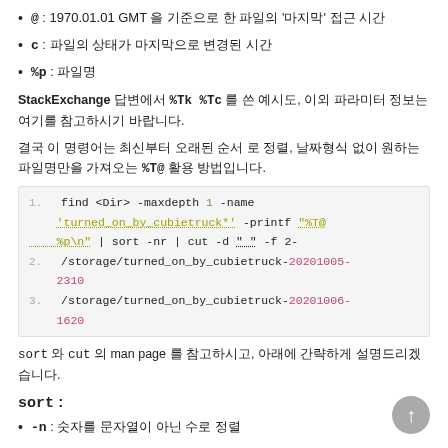@ : 1970.01.01 GMT 을 기준으로 한 파일의 '마지막' 접근 시간
c : 파일의 상태가 마지막으로 변경된 시간
%p : 파일명
StackExchange 답변에서 %Tk %Tc 를 쓴 예시도, 이외 파라미터 정보는 여기를 참고하시기 바랍니다.
결국 이 명령어는 최신부터 오래된 순서 로 정렬, 날짜형식 없이 원하는 파일명만을 가져오는 %T@ 활용 방법입니다.
[Figure (screenshot): Code block showing find command with sort and cut pipeline, with output lines 2 and 3 showing /storage/turned_on_by_cubietruck-20201005-2310 and /storage/turned_on_by_cubietruck-20201006-1620]
sort 와 cut 의 man page 를 참고하시고, 아래에 간략하게 설명드리겠습니다.
sort :
-n : 숫자를 문자열이 아닌 수로 정렬
-r : 역순 정렬 (내림차순정렬)